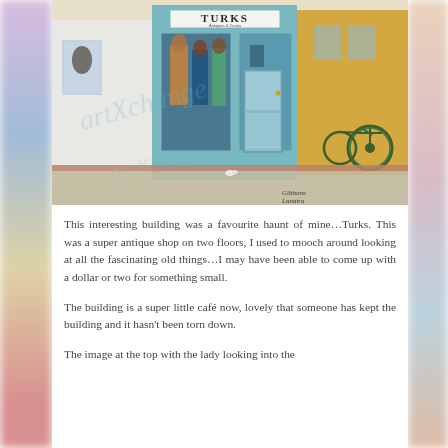[Figure (illustration): A colourful painted watercolour illustration of a street scene featuring a shop called 'Turks' with teal/turquoise storefront framing, display windows showing clothing and figures, a yellow building to the right, a bicycle leaning against the wall, and a pavement in the foreground. Watermark text overlaid reads 'artXchange'. Artist signature visible lower right: 'Gibbons Lanatra'.]
This interesting building was a favourite haunt of mine…Turks. This was a super antique shop on two floors, I used to mooch around looking at all the fascinating old things…I may have been able to come up with a dollar or two for something small.
The building is a super little café now, lovely that someone has kept the building and it hasn't been torn down.
The image at the top with the lady looking into the